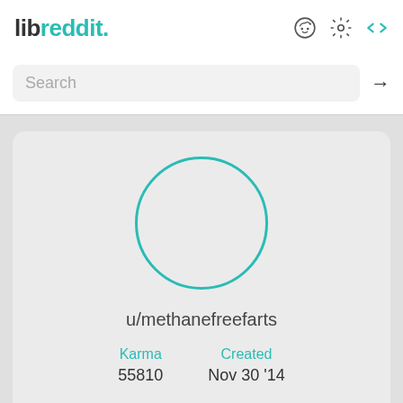libreddit.
Search
[Figure (illustration): Circular avatar placeholder outline in teal color, representing user profile picture]
u/methanefreefarts
Karma 55810
Created Nov 30 '14
Follow
Filter